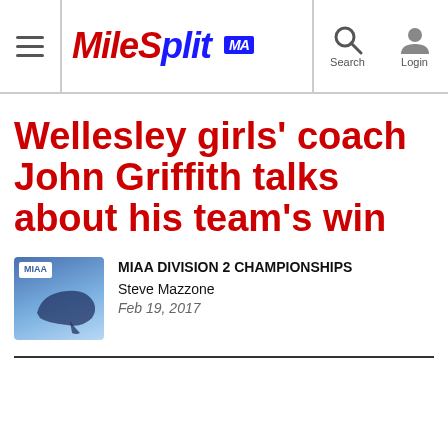MileSplit MA — Search — Login
Wellesley girls' coach John Griffith talks about his team's win
[Figure (logo): MIAA logo thumbnail — blue gradient background with MIAA text and Massachusetts map silhouette]
MIAA DIVISION 2 CHAMPIONSHIPS
Steve Mazzone
Feb 19, 2017